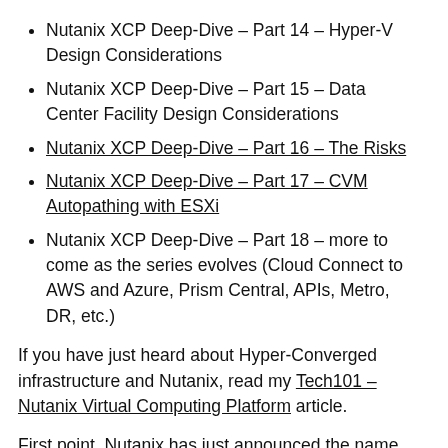Nutanix XCP Deep-Dive – Part 14 – Hyper-V Design Considerations
Nutanix XCP Deep-Dive – Part 15 – Data Center Facility Design Considerations
Nutanix XCP Deep-Dive – Part 16 – The Risks
Nutanix XCP Deep-Dive – Part 17 – CVM Autopathing with ESXi
Nutanix XCP Deep-Dive – Part 18 – more to come as the series evolves (Cloud Connect to AWS and Azure, Prism Central, APIs, Metro, DR, etc.)
If you have just heard about Hyper-Converged infrastructure and Nutanix, read my Tech101 – Nutanix Virtual Computing Platform article.
First point, Nutanix has just announced the name change of their Virtual Computing Platform (VCP)